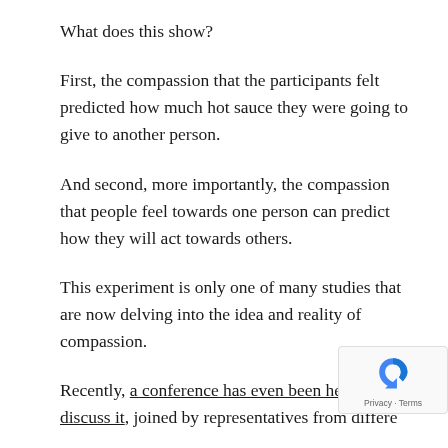What does this show?
First, the compassion that the participants felt predicted how much hot sauce they were going to give to another person.
And second, more importantly, the compassion that people feel towards one person can predict how they will act towards others.
This experiment is only one of many studies that are now delving into the idea and reality of compassion.
Recently, a conference has even been held to discuss it, joined by representatives from differe…